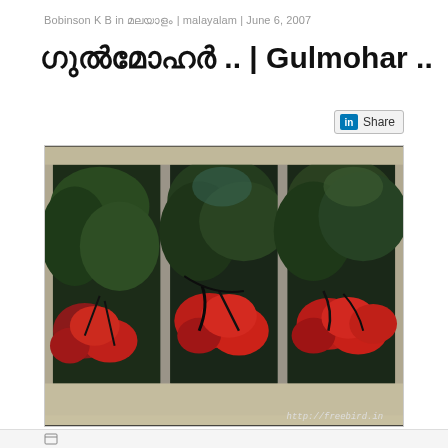Bobinson K B in മലയാളം | malayalam | June 6, 2007
ഗുൽമോഹർ .. | Gulmohar ..
[Figure (photo): Photograph of red Gulmohar (flamboyant) flowers viewed through a three-panel window frame. The window shows lush greenery and vivid red-orange blossoms. Watermark 'http://freebird.in' visible in lower right corner of photo.]
http://freebird.in